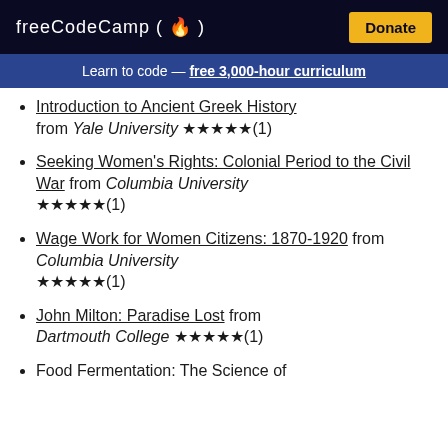freeCodeCamp (flame) — Donate
Learn to code — free 3,000-hour curriculum
Introduction to Ancient Greek History from Yale University ★★★★★(1)
Seeking Women's Rights: Colonial Period to the Civil War from Columbia University ★★★★★(1)
Wage Work for Women Citizens: 1870-1920 from Columbia University ★★★★★(1)
John Milton: Paradise Lost from Dartmouth College ★★★★★(1)
Food Fermentation: The Science of